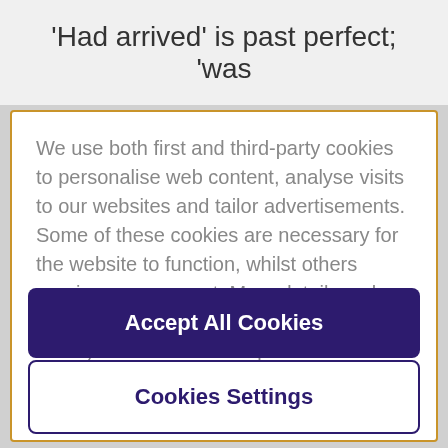'Had arrived' is past perfect; 'was
We use both first and third-party cookies to personalise web content, analyse visits to our websites and tailor advertisements. Some of these cookies are necessary for the website to function, whilst others require your consent. More detail can be found in our cookie policy and you can tailor your choices in the preference centre.
Accept All Cookies
Cookies Settings